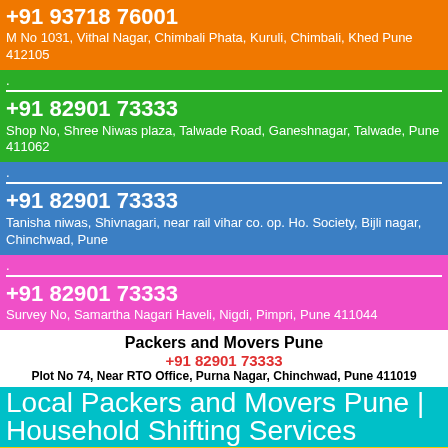+91 93718 76001
M No 1031, Vithal Nagar, Chimbali Phata, Kuruli, Chimbali, Khed Pune 412105
.
+91 82901 73333
Shop No, Shree Niwas plaza, Talwade Road, Ganeshnagar, Talwade, Pune 411062
.
+91 82901 73333
Tanisha niwas, Shivnagari, near rail vihar co. op. Ho. Society, Bijli nagar, Chinchwad, Pune
.
+91 82901 73333
Survey No, Samartha Nagari Haveli, Nigdi, Pimpri, Pune 411044
Packers and Movers Pune
+91 82901 73333
Plot No 74, Near RTO Office, Purna Nagar, Chinchwad, Pune 411019
Local Packers and Movers Pune | Household Shifting Services
Packers and Movers Pune
+91 82901 73333
Jawalkar Nagar Pimple Gurav, Near By Kalapatru Society
Since 2006, Packing And Moving Nagar Pune has been a first class "Relocation and Shifting" org that not exclusively offers fantastic ORGs to fulfill client's requests, however eminently values client's